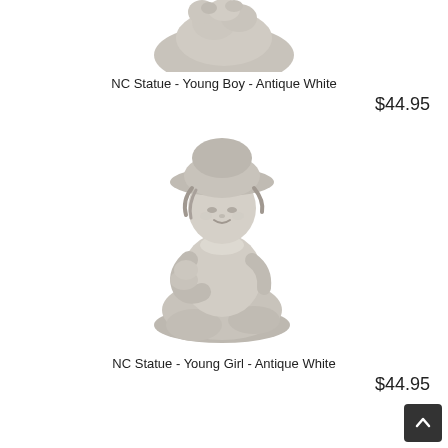[Figure (photo): Antique white statue of a young boy, partially visible at top of page]
NC Statue - Young Boy - Antique White
$44.95
[Figure (photo): Antique white statue of a young girl sitting with hand on chin, wearing a bonnet, smiling peacefully]
NC Statue - Young Girl - Antique White
$44.95